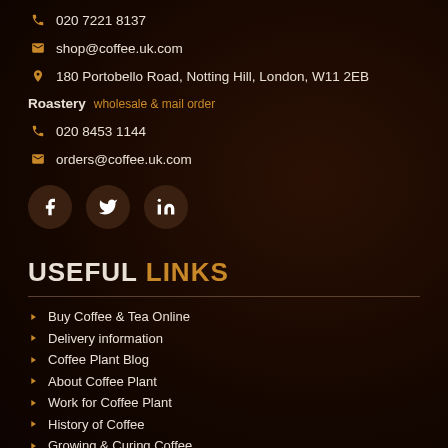020 7221 8137
shop@coffee.uk.com
180 Portobello Road, Notting Hill, London, W11 2EB
Roastery wholesale & mail order
020 8453 1144
orders@coffee.uk.com
[Figure (other): Social media icons: Facebook, Twitter, LinkedIn]
USEFUL LINKS
Buy Coffee & Tea Online
Delivery information
Coffee Plant Blog
About Coffee Plant
Work for Coffee Plant
History of Coffee
Growing & Curing Coffee
Drinking Coffee